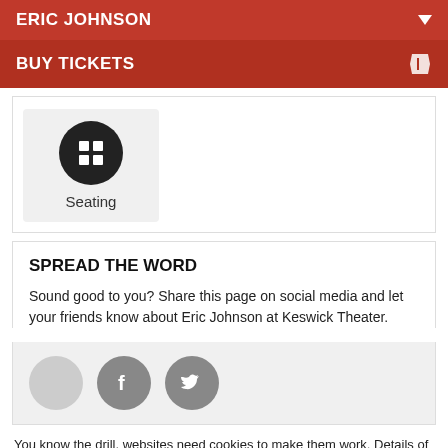ERIC JOHNSON
BUY TICKETS
[Figure (other): Seating icon — black circle with a grid/seating chart icon inside, labeled 'Seating' below]
SPREAD THE WORD
Sound good to you? Share this page on social media and let your friends know about Eric Johnson at Keswick Theater.
[Figure (other): Social share buttons: a light gray circle, a dark gray Facebook circle with 'f', and a dark gray Twitter circle with bird icon]
You know the drill, websites need cookies to make them work. Details of how we do it here.
Got it!